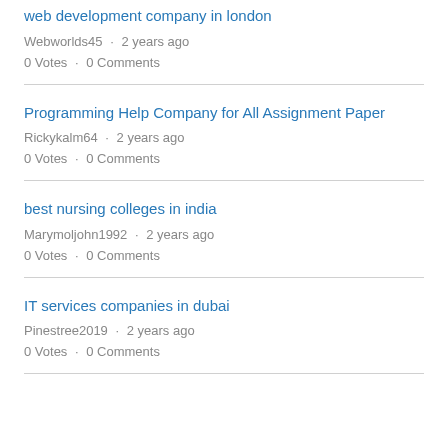web development company in london
Webworlds45 · 2 years ago
0 Votes · 0 Comments
Programming Help Company for All Assignment Paper
Rickykalm64 · 2 years ago
0 Votes · 0 Comments
best nursing colleges in india
Marymoljohn1992 · 2 years ago
0 Votes · 0 Comments
IT services companies in dubai
Pinestree2019 · 2 years ago
0 Votes · 0 Comments